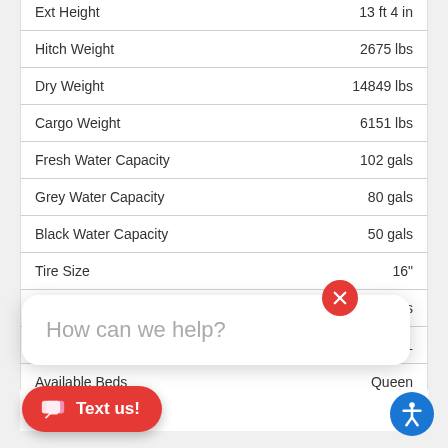| Specification | Value |
| --- | --- |
| Ext Height | 13 ft 4 in |
| Hitch Weight | 2675 lbs |
| Dry Weight | 14849 lbs |
| Cargo Weight | 6151 lbs |
| Fresh Water Capacity | 102 gals |
| Grey Water Capacity | 80 gals |
| Black Water Capacity | 50 gals |
| Tire Size | 16" |
| Fuel Capacity | 30 gals |
| Number Of Bunks | 1 |
| Available Beds | Queen |
How can we help?
Kitchen Island
Text us!